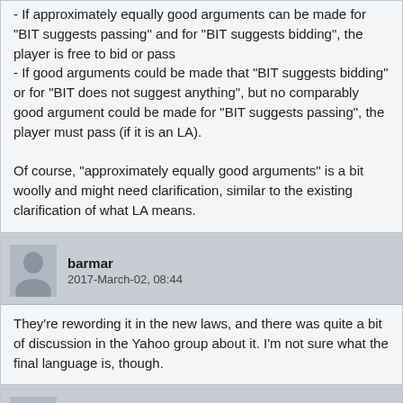- If approximately equally good arguments can be made for "BIT suggests passing" and for "BIT suggests bidding", the player is free to bid or pass
- If good arguments could be made that "BIT suggests bidding" or for "BIT does not suggest anything", but no comparably good argument could be made for "BIT suggests passing", the player must pass (if it is an LA).

Of course, "approximately equally good arguments" is a bit woolly and might need clarification, similar to the existing clarification of what LA means.
barmar
2017-March-02, 08:44
They're rewording it in the new laws, and there was quite a bit of discussion in the Yahoo group about it. I'm not sure what the final language is, though.
mycroft
2017-March-02, 11:52